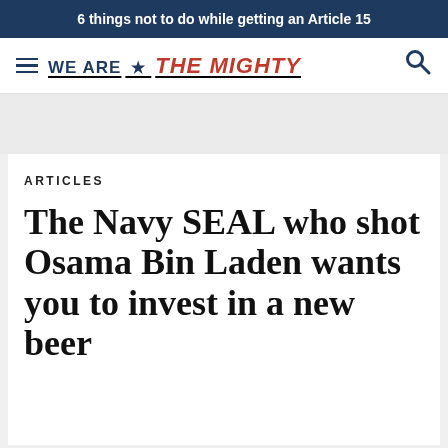6 things not to do while getting an Article 15
[Figure (logo): We Are The Mighty logo with hamburger menu and search icon]
ARTICLES
The Navy SEAL who shot Osama Bin Laden wants you to invest in a new beer